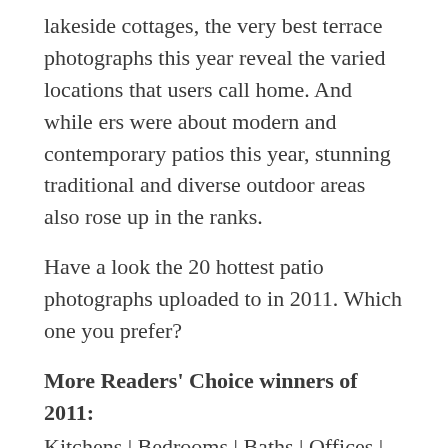lakeside cottages, the very best terrace photographs this year reveal the varied locations that users call home. And while ers were about modern and contemporary patios this year, stunning traditional and diverse outdoor areas also rose up in the ranks.
Have a look the 20 hottest patio photographs uploaded to in 2011. Which one you prefer?
More Readers' Choice winners of 2011:
Kitchens | Bedrooms | Baths | Offices | Living Bathrooms | Kids' Bathrooms | Laundry Bathrooms